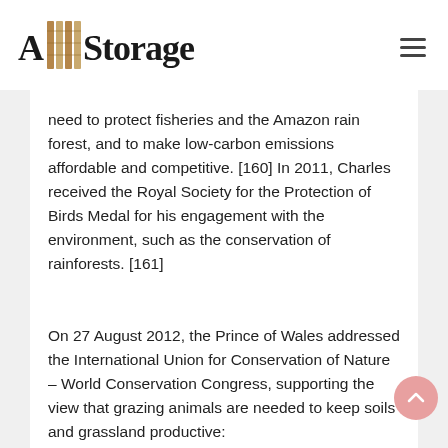A Storage
need to protect fisheries and the Amazon rain forest, and to make low-carbon emissions affordable and competitive. [160] In 2011, Charles received the Royal Society for the Protection of Birds Medal for his engagement with the environment, such as the conservation of rainforests. [161]
On 27 August 2012, the Prince of Wales addressed the International Union for Conservation of Nature – World Conservation Congress, supporting the view that grazing animals are needed to keep soils and grassland productive: